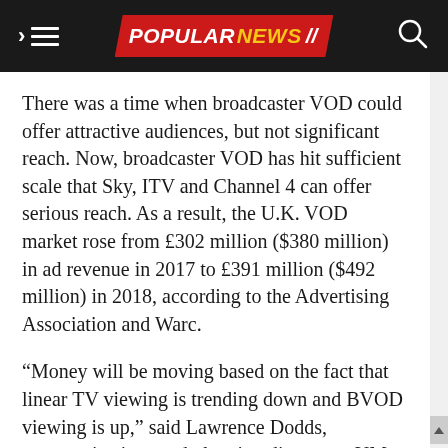POPULAR NEWS
There was a time when broadcaster VOD could offer attractive audiences, but not significant reach. Now, broadcaster VOD has hit sufficient scale that Sky, ITV and Channel 4 can offer serious reach. As a result, the U.K. VOD market rose from £302 million ($380 million) in ad revenue in 2017 to £391 million ($492 million) in 2018, according to the Advertising Association and Warc.
“Money will be moving based on the fact that linear TV viewing is trending down and BVOD viewing is up,” said Lawrence Dodds, communications and planning director at UM London. “I have not seen any suggestion that significant amounts of cash are moving away